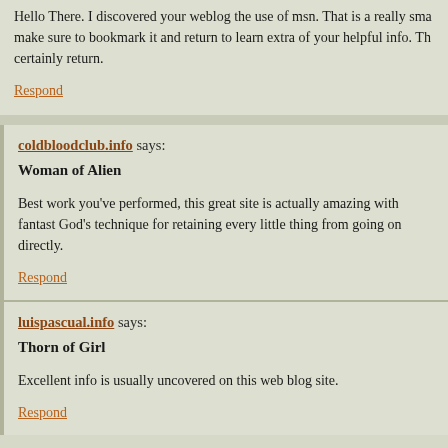Hello There. I discovered your weblog the use of msn. That is a really sma… make sure to bookmark it and return to learn extra of your helpful info. Th… certainly return.
Respond
coldbloodclub.info says:
Woman of Alien
Best work you've performed, this great site is actually amazing with fantast… God's technique for retaining every little thing from going on directly.
Respond
luispascual.info says:
Thorn of Girl
Excellent info is usually uncovered on this web blog site.
Respond